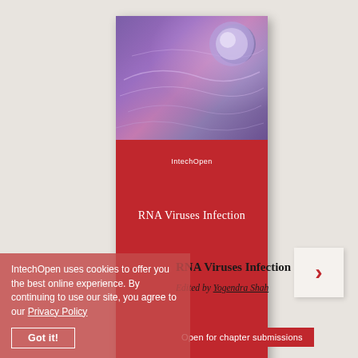[Figure (illustration): Book cover for 'RNA Viruses Infection' published by IntechOpen, with purple microscopy image at top and bottom, red center section with title and logo, on a light beige background. A right-arrow navigation button appears to the right.]
IntechOpen uses cookies to offer you the best online experience. By continuing to use our site, you agree to our Privacy Policy
RNA Viruses Infection
Edited by Yogendra Shah
Got it!
Open for chapter submissions